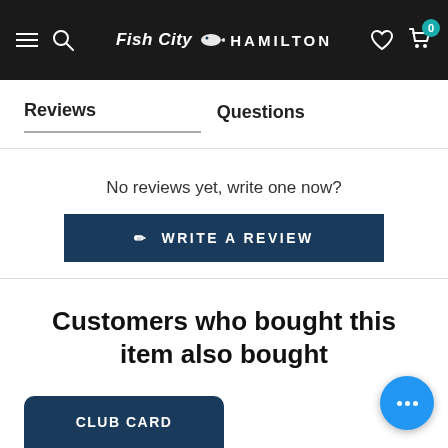Fish City Hamilton
Reviews
Questions
No reviews yet, write one now?
✏ WRITE A REVIEW
Customers who bought this item also bought
CLUB CARD